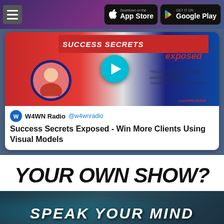Download on the App Store | GET IT ON Google Play
[Figure (screenshot): W4WN Radio tweet with embedded video player showing Success Secrets Exposed show thumbnail with a woman's photo and play button]
W4WN Radio @w4wnradio
Success Secrets Exposed - Win More Clients Using Visual Models
[Figure (screenshot): Partial text reading 'YOUR OWN SHOW?' in large bold italic font]
[Figure (screenshot): Dark image with people and text 'SPEAK YOUR MIND' overlaid in large bold italic white letters]